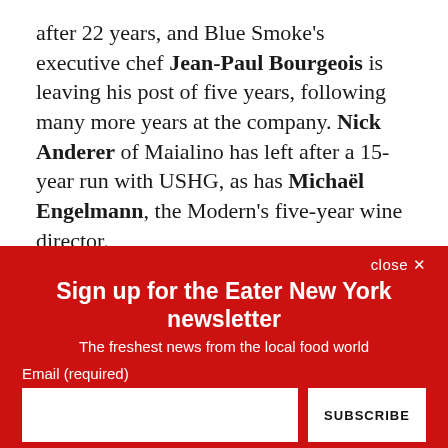after 22 years, and Blue Smoke's executive chef Jean-Paul Bourgeois is leaving his post of five years, following many more years at the company. Nick Anderer of Maialino has left after a 15-year run with USHG, as has Michaël Engelmann, the Modern's five-year wine director.
But some new faces are around, too. USHG recently appointed a new president, a role that's been empty since
close ×
Sign up for the Eater New York newsletter
The freshest news from the local food world
Email (required)
SUBSCRIBE
By submitting your email, you agree to our Terms and Privacy Notice. You can opt out at any time. This site is protected by reCAPTCHA and the Google Privacy Policy and Terms of Service apply.